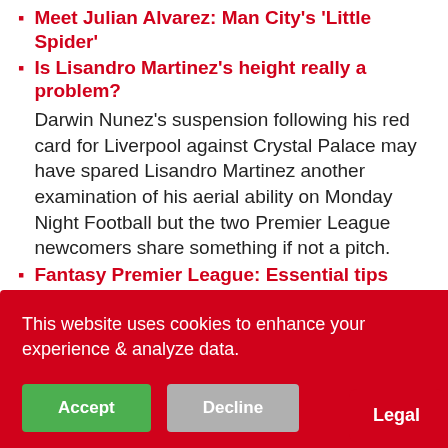Meet Julian Alvarez: Man City's 'Little Spider'
Is Lisandro Martinez's height really a problem?
Darwin Nunez's suspension following his red card for Liverpool against Crystal Palace may have spared Lisandro Martinez another examination of his aerial ability on Monday Night Football but the two Premier League newcomers share something if not a pitch.
Fantasy Premier League: Essential tips from experts ahead of GW3
With the new Premier League season under way, Sky Sports News has launched a weekly column bringing ... Fantasy Premier
... Nunes in club-record
... lsbon midfielder
... d £42.2m deal.
This website uses cookies to enhance your experience & analyze data.
Accept | Decline
Legal